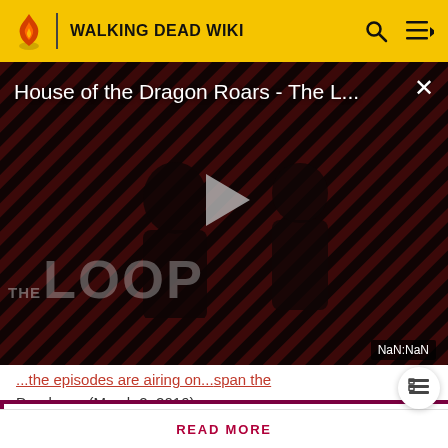WALKING DEAD WIKI
[Figure (screenshot): Video player showing 'House of the Dragon Roars - The L...' with THE LOOP branding, diagonal red/dark stripe background, two silhouetted figures, play button, and NaN:NaN timer badge]
Dead.com (March 2, 2016)
Attention! Please be aware that spoilers are not allowed on the wiki and a violation of this policy may result in a ban.
READ MORE